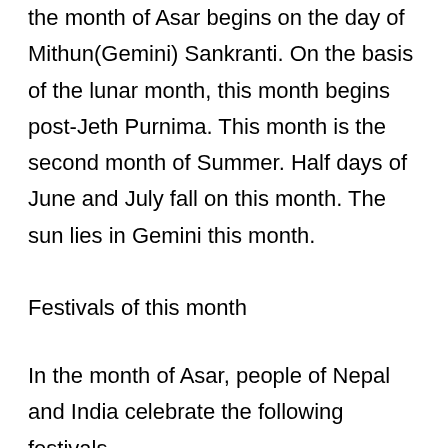the month of Asar begins on the day of Mithun(Gemini) Sankranti. On the basis of the lunar month, this month begins post-Jeth Purnima. This month is the second month of Summer. Half days of June and July fall on this month. The sun lies in Gemini this month.
Festivals of this month
In the month of Asar, people of Nepal and India celebrate the following festivals.